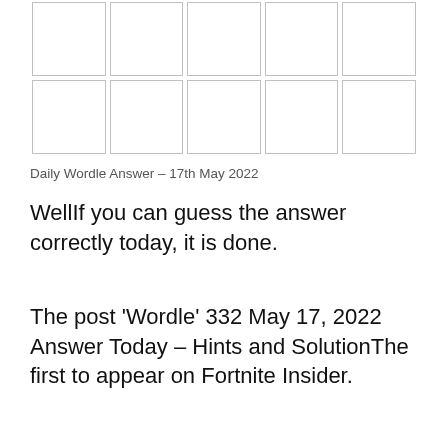[Figure (other): A Wordle game grid showing two rows of 5 empty white cells with gray borders]
Daily Wordle Answer – 17th May 2022
WellIf you can guess the answer correctly today, it is done.
The post 'Wordle' 332 May 17, 2022 Answer Today – Hints and SolutionThe first to appear on Fortnite Insider.